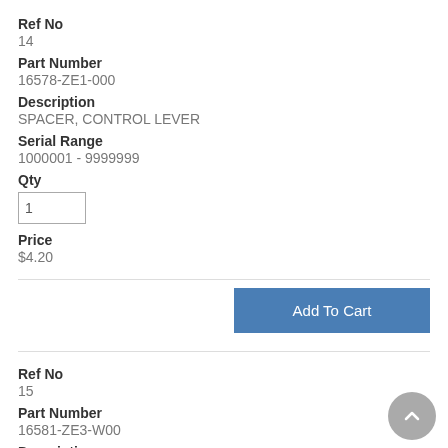Ref No
14
Part Number
16578-ZE1-000
Description
SPACER, CONTROL LEVER
Serial Range
1000001 - 9999999
Qty
1
Price
$4.20
Add To Cart
Ref No
15
Part Number
16581-ZE3-W00
Description
BASE, CONTROL